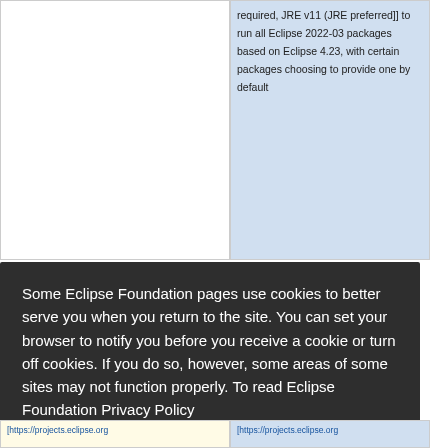required, JRE v11 (JRE preferred]] to run all Eclipse 2022-03 packages based on Eclipse 4.23, with certain packages choosing to provide one by default
Some Eclipse Foundation pages use cookies to better serve you when you return to the site. You can set your browser to notify you before you receive a cookie or turn off cookies. If you do so, however, some areas of some sites may not function properly. To read Eclipse Foundation Privacy Policy click here.
Decline
Allow cookies
[https://projects.eclipse.org
[https://projects.eclipse.org